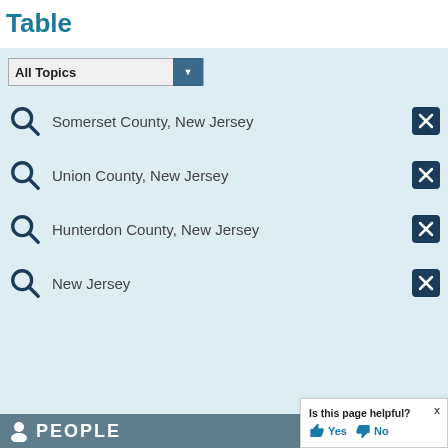Table
Somerset County, New Jersey
Union County, New Jersey
Hunterdon County, New Jersey
New Jersey
Is this page helpful? Yes No